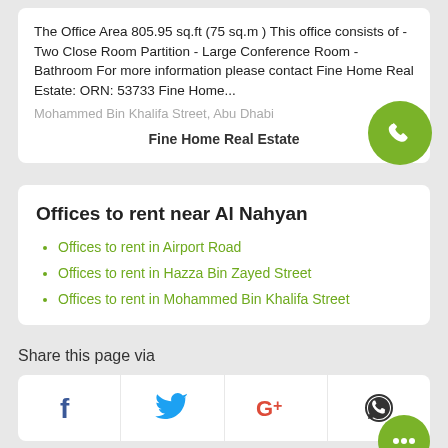The Office Area 805.95 sq.ft (75 sq.m ) This office consists of - Two Close Room Partition - Large Conference Room - Bathroom For more information please contact Fine Home Real Estate: ORN: 53733 Fine Home...
Mohammed Bin Khalifa Street, Abu Dhabi
Fine Home Real Estate
Offices to rent near Al Nahyan
Offices to rent in Airport Road
Offices to rent in Hazza Bin Zayed Street
Offices to rent in Mohammed Bin Khalifa Street
Share this page via
[Figure (infographic): Social sharing icons row: Facebook, Twitter, Google+, WhatsApp]